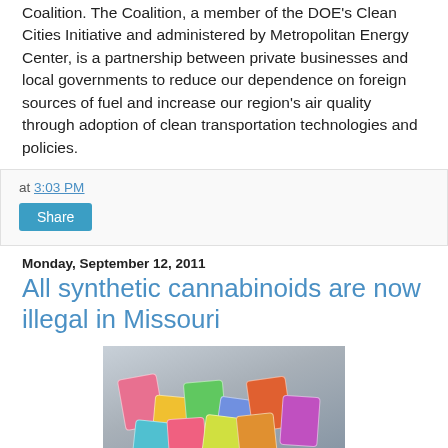Coalition. The Coalition, a member of the DOE's Clean Cities Initiative and administered by Metropolitan Energy Center, is a partnership between private businesses and local governments to reduce our dependence on foreign sources of fuel and increase our region's air quality through adoption of clean transportation technologies and policies.
at 3:03 PM
Share
Monday, September 12, 2011
All synthetic cannabinoids are now illegal in Missouri
[Figure (photo): Photo of colorful synthetic drug packets/products laid out on a surface]